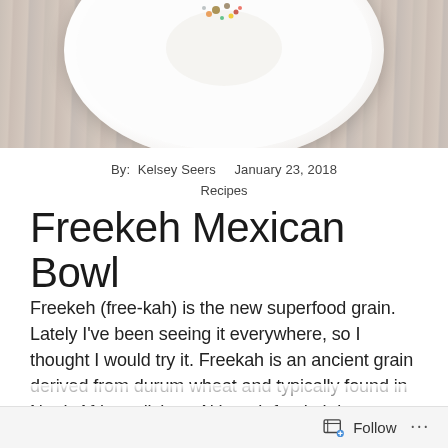[Figure (photo): Top-down photo of a white ceramic plate with food on a dark wood background, partially cropped at the top of the page]
By:  Kelsey Seers    January 23, 2018
Recipes
Freekeh Mexican Bowl
Freekeh (free-kah) is the new superfood grain. Lately I've been seeing it everywhere, so I thought I would try it. Freekah is an ancient grain derived from durum wheat and typically found in North African dishes. Although freekeh is not gluten per say, it is tolerable for people who suffer from gluten
Follow ...